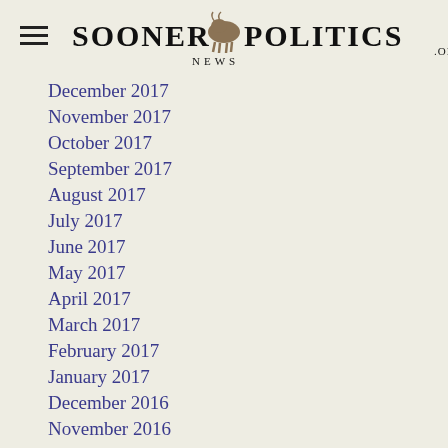Sooner Politics News .org
December 2017
November 2017
October 2017
September 2017
August 2017
July 2017
June 2017
May 2017
April 2017
March 2017
February 2017
January 2017
December 2016
November 2016
October 2016
September 2016
August 2016